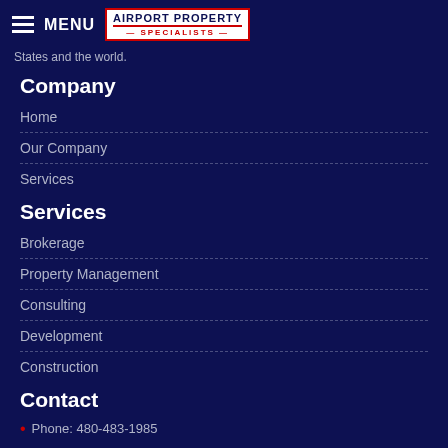MENU | AIRPORT PROPERTY SPECIALISTS
States and the world.
Company
Home
Our Company
Services
Services
Brokerage
Property Management
Consulting
Development
Construction
Contact
Phone: 480-483-1985